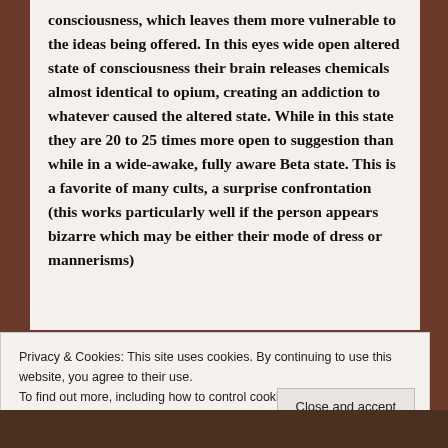consciousness, which leaves them more vulnerable to the ideas being offered. In this eyes wide open altered state of consciousness their brain releases chemicals almost identical to opium, creating an addiction to whatever caused the altered state. While in this state they are 20 to 25 times more open to suggestion than while in a wide-awake, fully aware Beta state. This is a favorite of many cults, a surprise confrontation (this works particularly well if the person appears bizarre which may be either their mode of dress or mannerisms)
Privacy & Cookies: This site uses cookies. By continuing to use this website, you agree to their use.
To find out more, including how to control cookies, see here: Cookie Policy